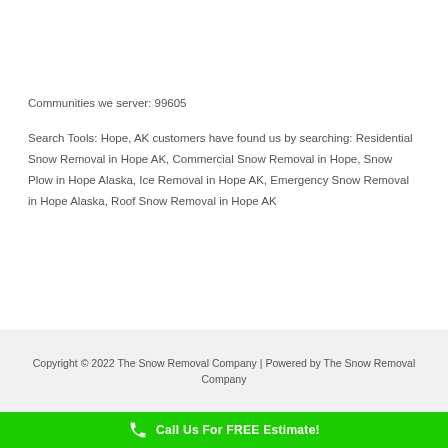Communities we server: 99605
Search Tools: Hope, AK customers have found us by searching: Residential Snow Removal in Hope AK, Commercial Snow Removal in Hope, Snow Plow in Hope Alaska, Ice Removal in Hope AK, Emergency Snow Removal in Hope Alaska, Roof Snow Removal in Hope AK
Copyright © 2022 The Snow Removal Company | Powered by The Snow Removal Company
Call Us For FREE Estimate!